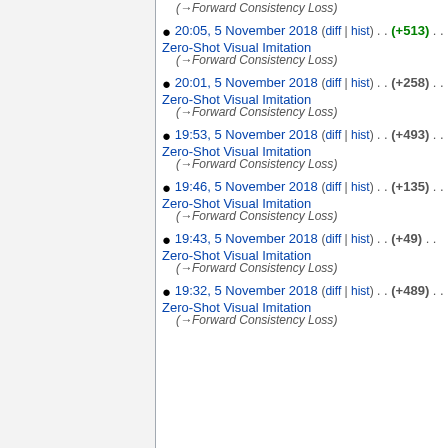(→Forward Consistency Loss)
20:05, 5 November 2018 (diff | hist) . . (+513) . . Zero-Shot Visual Imitation (→Forward Consistency Loss)
20:01, 5 November 2018 (diff | hist) . . (+258) . . Zero-Shot Visual Imitation (→Forward Consistency Loss)
19:53, 5 November 2018 (diff | hist) . . (+493) . . Zero-Shot Visual Imitation (→Forward Consistency Loss)
19:46, 5 November 2018 (diff | hist) . . (+135) . . Zero-Shot Visual Imitation (→Forward Consistency Loss)
19:43, 5 November 2018 (diff | hist) . . (+49) . . Zero-Shot Visual Imitation (→Forward Consistency Loss)
19:32, 5 November 2018 (diff | hist) . . (+489) . . Zero-Shot Visual Imitation (→Forward Consistency Loss)